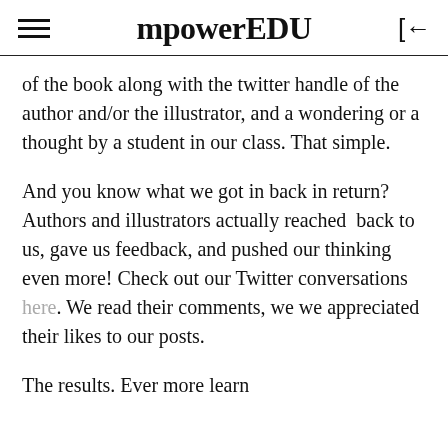mpowerEDU
of the book along with the twitter handle of the author and/or the illustrator, and a wondering or a thought by a student in our class. That simple.
And you know what we got in back in return? Authors and illustrators actually reached  back to us, gave us feedback, and pushed our thinking even more! Check out our Twitter conversations here. We read their comments, we we appreciated their likes to our posts.
The results. Even more learn...